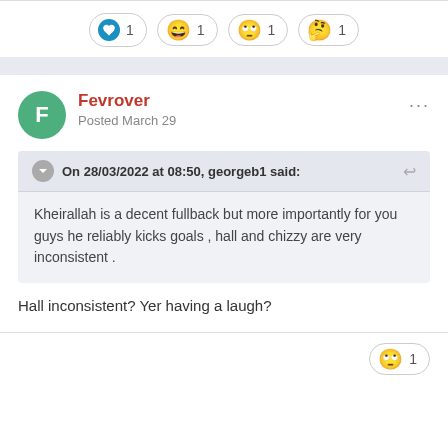[Figure (infographic): Row of four reaction badges: heart (1), laughing emoji (1), rolling eyes emoji (1), face with medical emoji (1)]
Fevrover
Posted March 29
On 28/03/2022 at 08:50, georgeb1 said:
Kheirallah is a decent fullback but more importantly for you guys he reliably kicks goals , hall and chizzy are very inconsistent .
Hall inconsistent? Yer having a laugh?
[Figure (infographic): Single reaction badge: rolling eyes emoji (1)]